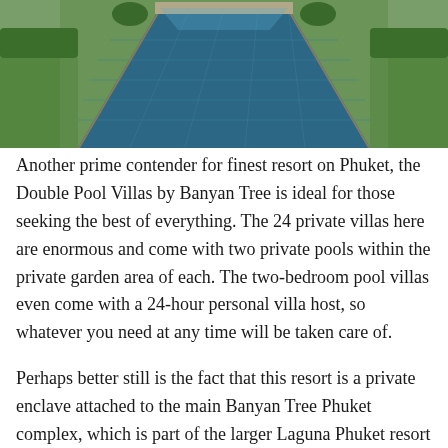[Figure (photo): Aerial view of a long rectangular infinity pool flanked by manicured green lawns and hedges, with a stone pathway at the far end, at a luxury resort.]
Another prime contender for finest resort on Phuket, the Double Pool Villas by Banyan Tree is ideal for those seeking the best of everything. The 24 private villas here are enormous and come with two private pools within the private garden area of each. The two-bedroom pool villas even come with a 24-hour personal villa host, so whatever you need at any time will be taken care of.
Perhaps better still is the fact that this resort is a private enclave attached to the main Banyan Tree Phuket complex, which is part of the larger Laguna Phuket resort complex. Guests here get all the privacy they could want, but also direct access to the 30 restaurants and bars within the exclusive property. The private